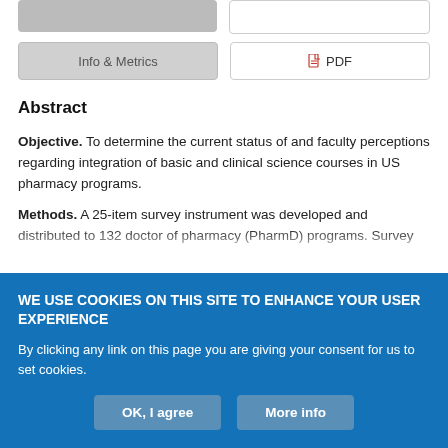[Figure (screenshot): Two navigation buttons at top: a grey filled button on the left (partially visible) and a partially visible second button on the right]
[Figure (screenshot): Two tab buttons: 'Info & Metrics' (grey) and 'PDF' (white with red PDF icon)]
Abstract
Objective. To determine the current status of and faculty perceptions regarding integration of basic and clinical science courses in US pharmacy programs.
Methods. A 25-item survey instrument was developed and distributed to 132 doctor of pharmacy (PharmD) programs. Survey
WE USE COOKIES ON THIS SITE TO ENHANCE YOUR USER EXPERIENCE
By clicking any link on this page you are giving your consent for us to set cookies.
OK, I agree
More info